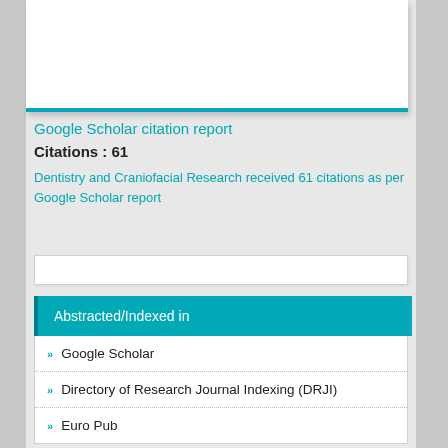[Figure (other): Top white card area with teal bottom border, partially visible]
Google Scholar citation report
Citations : 61
Dentistry and Craniofacial Research received 61 citations as per Google Scholar report
[Figure (other): Empty search/input box]
Abstracted/Indexed in
Google Scholar
Directory of Research Journal Indexing (DRJI)
Euro Pub